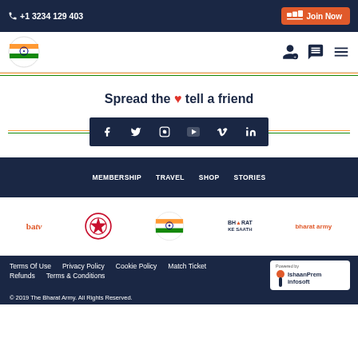+1 3234 129 403 | Join Now
[Figure (logo): Bharat Army circular logo with Indian flag colors]
Spread the ❤ tell a friend
[Figure (infographic): Social media icons: f, Twitter, Instagram, YouTube, Vimeo, LinkedIn on dark navy background]
MEMBERSHIP  TRAVEL  SHOP  STORIES
[Figure (logo): Row of partner logos: batv, Cricket World Cup, Bharat Army, Bharat Ke Saath, bharat army]
Terms Of Use  Privacy Policy  Cookie Policy  Match Ticket Refunds  Terms & Conditions
© 2019 The Bharat Army. All Rights Reserved.
[Figure (logo): Powered by IshaanPrem infosoft badge]